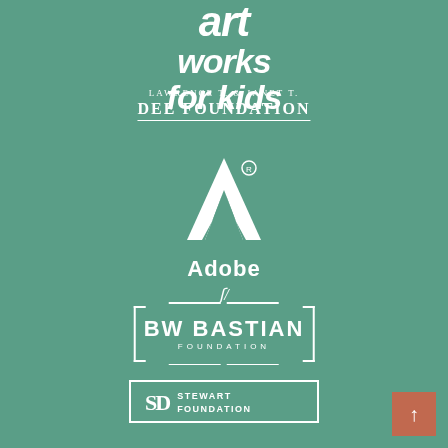[Figure (logo): Art Works for Kids logo in white italic bold text on teal/green background]
[Figure (logo): Lawrence T. & Janet T. Dee Foundation logo in white text with underline on teal background]
[Figure (logo): Adobe logo with white 'A' symbol and 'Adobe' text on teal background]
[Figure (logo): BW Bastian Foundation logo in white on teal background with decorative lines and bracket elements]
[Figure (logo): SD Stewart Foundation logo in white with border on teal background]